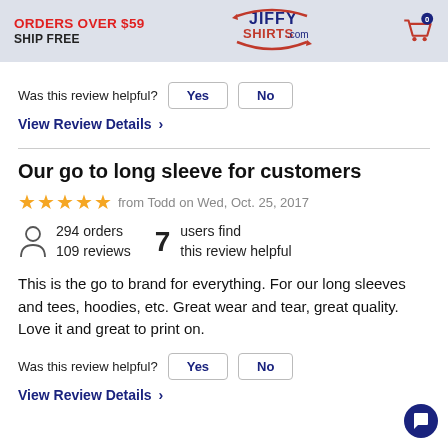ORDERS OVER $59 SHIP FREE | JiffyShirts.com | Cart: 0
Was this review helpful?
View Review Details >
Our go to long sleeve for customers
from Todd on Wed, Oct. 25, 2017
294 orders 109 reviews
7 users find this review helpful
This is the go to brand for everything. For our long sleeves and tees, hoodies, etc. Great wear and tear, great quality. Love it and great to print on.
Was this review helpful?
View Review Details >